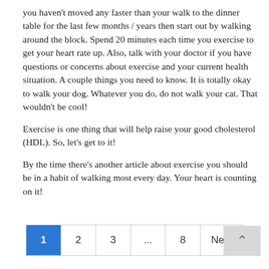you haven't moved any faster than your walk to the dinner table for the last few months / years then start out by walking around the block. Spend 20 minutes each time you exercise to get your heart rate up. Also, talk with your doctor if you have questions or concerns about exercise and your current health situation. A couple things you need to know. It is totally okay to walk your dog. Whatever you do, do not walk your cat. That wouldn't be cool!
Exercise is one thing that will help raise your good cholesterol (HDL). So, let's get to it!
By the time there's another article about exercise you should be in a habit of walking most every day. Your heart is counting on it!
1 2 3 ... 8 Next